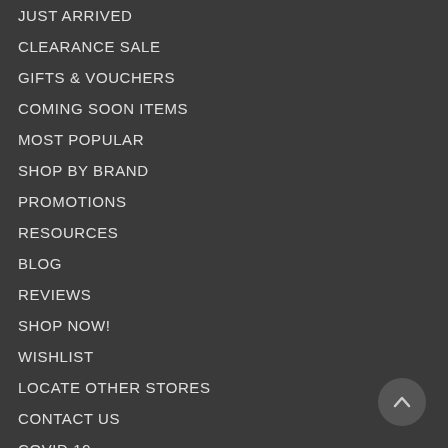JUST ARRIVED
CLEARANCE SALE
GIFTS & VOUCHERS
COMING SOON ITEMS
MOST POPULAR
SHOP BY BRAND
PROMOTIONS
RESOURCES
BLOG
REVIEWS
SHOP NOW!
WISHLIST
LOCATE OTHER STORES
CONTACT US
COVID 19
[Figure (other): Circular scroll-to-top button with upward chevron arrow]